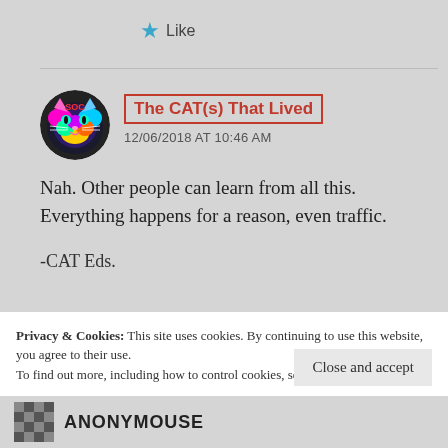Like
The CAT(s) That Lived
12/06/2018 AT 10:46 AM
Nah. Other people can learn from all this. Everything happens for a reason, even traffic.
-CAT Eds.
Privacy & Cookies: This site uses cookies. By continuing to use this website, you agree to their use.
To find out more, including how to control cookies, see here: Cookie Policy
Close and accept
ANONYMOUSE